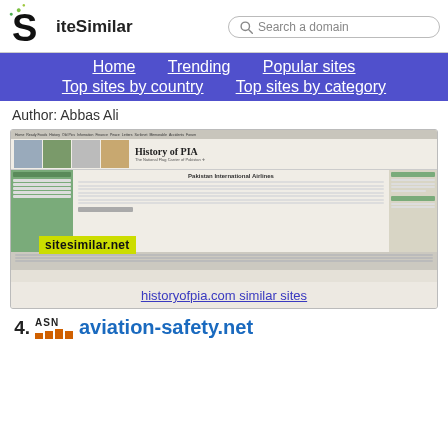SiteSimilar — Search a domain — Home | Trending | Popular sites | Top sites by country | Top sites by category
Author: Abbas Ali
[Figure (screenshot): Screenshot of historyofpia.com website showing History of PIA - The National Flag Carrier of Pakistan, with navigation, banner images, and content columns]
historyofpia.com similar sites
ASN
24. aviation-safety.net